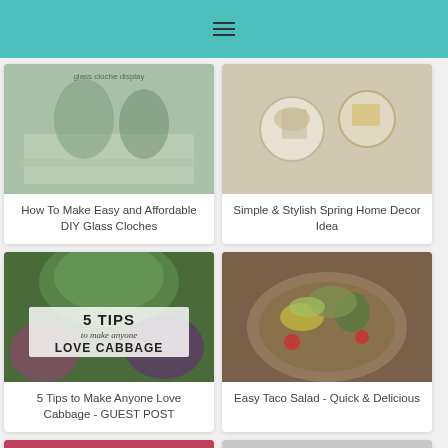[Figure (photo): DIY glass cloches with greenery on a decorative tray]
How To Make Easy and Affordable DIY Glass Cloches
[Figure (photo): Spring home decor with white containers, straw, and natural elements]
Simple & Stylish Spring Home Decor Idea
[Figure (photo): Collage of cabbage varieties with text overlay: 5 TIPS to make anyone LOVE CABBAGE]
5 Tips to Make Anyone Love Cabbage - GUEST POST
[Figure (photo): Glass bowl filled with taco salad: ground beef, corn, black beans, avocado, tomatoes]
Easy Taco Salad - Quick & Delicious
[Figure (photo): Pink/red background with food item, partially visible at bottom]
[Figure (photo): Light gray background with partial image, partially visible at bottom]